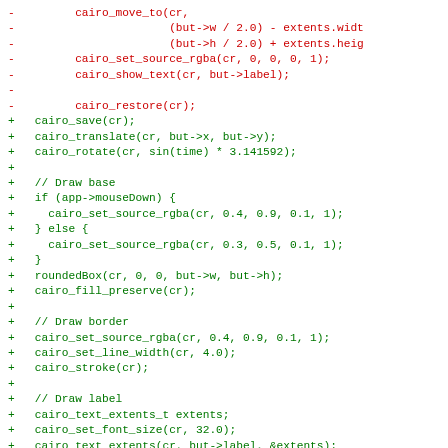[Figure (other): A code diff showing deleted lines (red, prefixed with -) and added lines (green, prefixed with +) in C code using Cairo graphics library functions.]